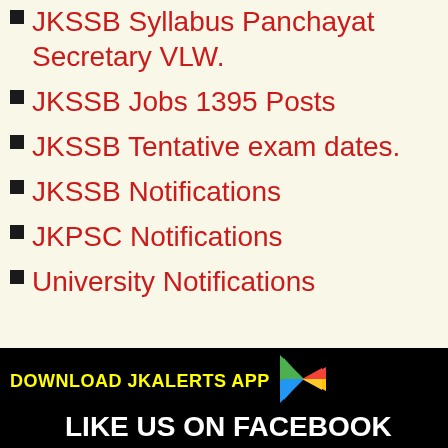JKSSB Syllabus Panchayat Secretary VLW.
JKSSB Jobs 1395 Posts
JKSSB Tentative exam dates.
JKSSB Notifications
JKPSC Notifications
University Notifications
[Figure (logo): Google Play store icon (colorful triangle) next to DOWNLOAD JKALERTS APP text in yellow on black background, and LIKE US ON FACEBOOK text in white on black background]